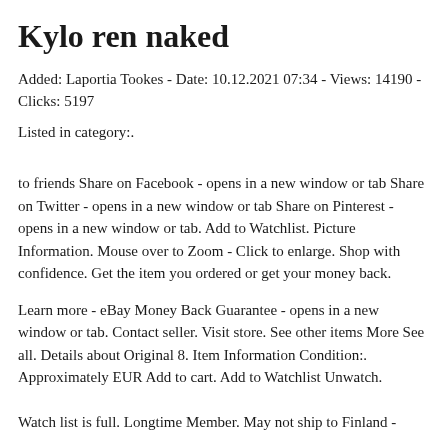Kylo ren naked
Added: Laportia Tookes - Date: 10.12.2021 07:34 - Views: 14190 - Clicks: 5197
Listed in category:.
to friends Share on Facebook - opens in a new window or tab Share on Twitter - opens in a new window or tab Share on Pinterest - opens in a new window or tab. Add to Watchlist. Picture Information. Mouse over to Zoom - Click to enlarge. Shop with confidence. Get the item you ordered or get your money back.
Learn more - eBay Money Back Guarantee - opens in a new window or tab. Contact seller. Visit store. See other items More See all. Details about Original 8. Item Information Condition:. Approximately EUR Add to cart. Add to Watchlist Unwatch.
Watch list is full. Longtime Member. May not ship to Finland -